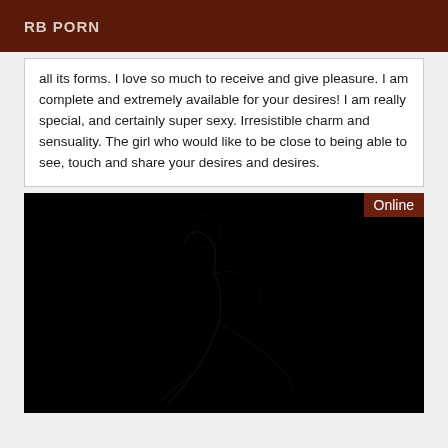RB PORN
all its forms. I love so much to receive and give pleasure. I am complete and extremely available for your desires! I am really special, and certainly super sexy. Irresistible charm and sensuality. The girl who would like to be close to being able to see, touch and share your desires and desires.
[Figure (photo): Very dark/black image with faint outline of a figure, with an 'Online' badge in the top right corner on a dark red background.]